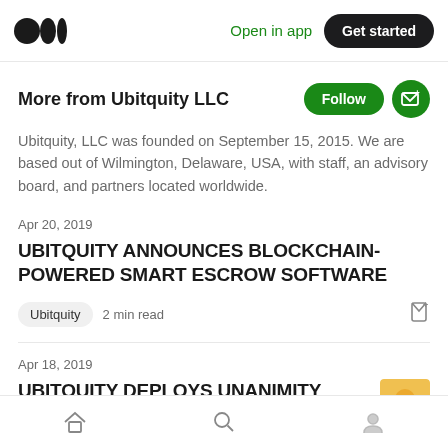Medium — Open in app | Get started
More from Ubitquity LLC
Ubitquity, LLC was founded on September 15, 2015. We are based out of Wilmington, Delaware, USA, with staff, an advisory board, and partners located worldwide.
Apr 20, 2019
UBITQUITY ANNOUNCES BLOCKCHAIN-POWERED SMART ESCROW SOFTWARE
Ubitquity  2 min read
Apr 18, 2019
UBITOUITY DEPLOYS UNANIMITY
Home | Search | Profile